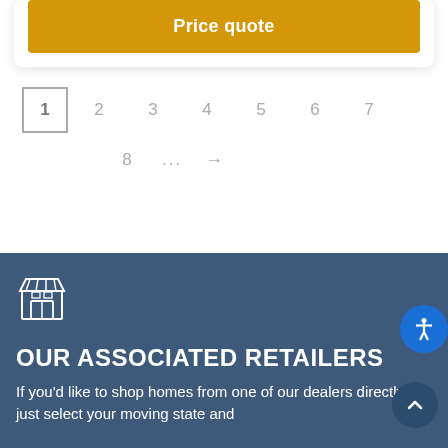[Figure (screenshot): Price quote button in gold/amber color]
1
2
3
4
5
6
7
8
...
→
[Figure (illustration): Store/shop icon in white outline on dark blue background]
OUR ASSOCIATED RETAILERS
If you'd like to shop homes from one of our dealers directly, just select your moving state and